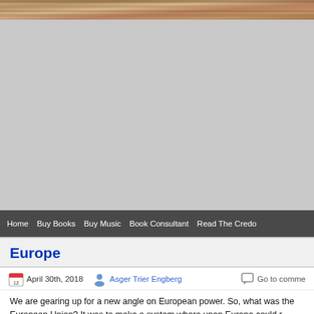[Figure (photo): Decorative header image strip with mosaic/textile pattern in warm brown and tan tones]
[Figure (screenshot): Large grey advertisement/placeholder area]
Home  Buy Books  Buy Music  Book Consultant  Read The Credo
Europe
April 30th, 2018  Asger Trier Engberg  Go to comme...
We are gearing up for a new angle on European power. So, what was the European Union? It was to make a system where upon Europe could r... powerbase.